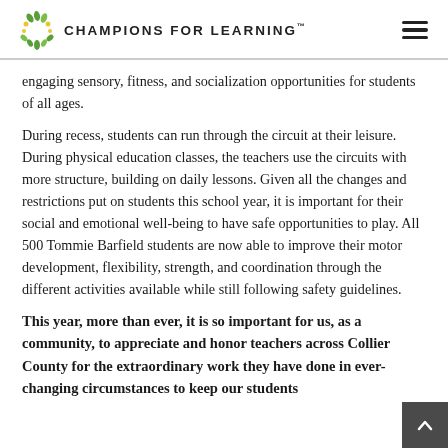CHAMPIONS FOR LEARNING™
engaging sensory, fitness, and socialization opportunities for students of all ages.
During recess, students can run through the circuit at their leisure. During physical education classes, the teachers use the circuits with more structure, building on daily lessons. Given all the changes and restrictions put on students this school year, it is important for their social and emotional well-being to have safe opportunities to play. All 500 Tommie Barfield students are now able to improve their motor development, flexibility, strength, and coordination through the different activities available while still following safety guidelines.
This year, more than ever, it is so important for us, as a community, to appreciate and honor teachers across Collier County for the extraordinary work they have done in ever-changing circumstances to keep our students